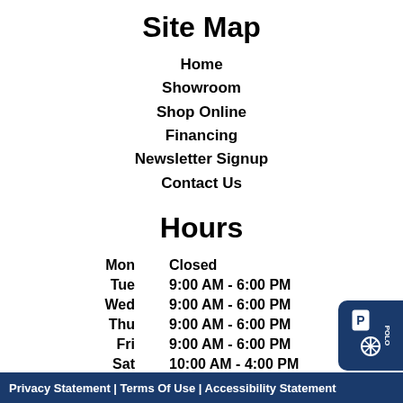Site Map
Home
Showroom
Shop Online
Financing
Newsletter Signup
Contact Us
Hours
| Day | Hours |
| --- | --- |
| Mon | Closed |
| Tue | 9:00 AM - 6:00 PM |
| Wed | 9:00 AM - 6:00 PM |
| Thu | 9:00 AM - 6:00 PM |
| Fri | 9:00 AM - 6:00 PM |
| Sat | 10:00 AM - 4:00 PM |
| Sun | Closed |
Special holiday closures & events
Privacy Statement | Terms Of Use | Accessibility Statement